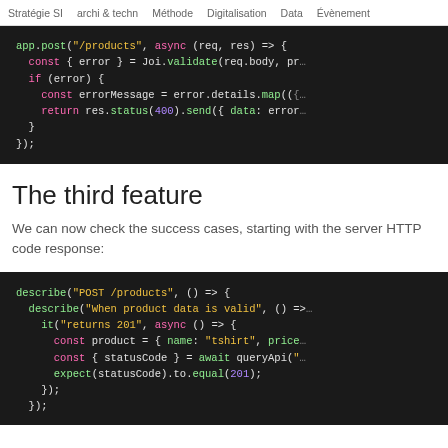Stratégie SI  archi & techn  Méthode  Digitalisation  Data  Évènement
[Figure (screenshot): Dark-themed code editor screenshot showing JavaScript route handler with Joi validation, pink/green/purple syntax highlighting on dark background. Code includes app.post('/products', async (req, res) => { const { error } = Joi.validate(req.body, pr... if (error) { const errorMessage = error.details.map(({ ... return res.status(400).send({ data: errorM... } });]
The third feature
We can now check the success cases, starting with the server HTTP code response:
[Figure (screenshot): Dark-themed code editor screenshot showing JavaScript test code with describe/it blocks. Code includes describe('POST /products', () => { describe('When product data is valid', () =>... it('returns 201', async () => { const product = { name: 'tshirt', price... const { statusCode } = await queryApi('... expect(statusCode).to.equal(201); }); }); with green/pink/yellow/purple syntax highlighting.]